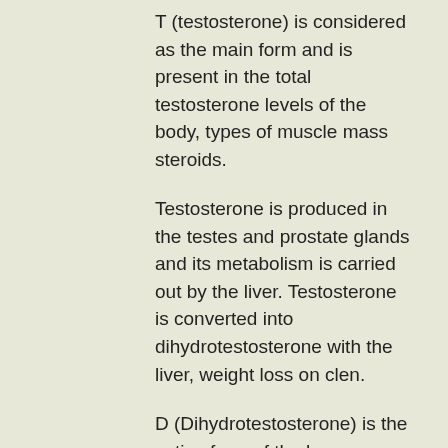T (testosterone) is considered as the main form and is present in the total testosterone levels of the body, types of muscle mass steroids.
Testosterone is produced in the testes and prostate glands and its metabolism is carried out by the liver. Testosterone is converted into dihydrotestosterone with the liver, weight loss on clen.
D (Dihydrotestosterone) is the active form of the hormone and is produced from cholesterol and the testosterone.
Dihydrotestosterone is converted with the liver to the body's own form of testosterone known as dihydrotestosterone by the enzyme 5alpha reductase, but the conversion is incomplete. Dihydrotestosterone is converted by aromatase into